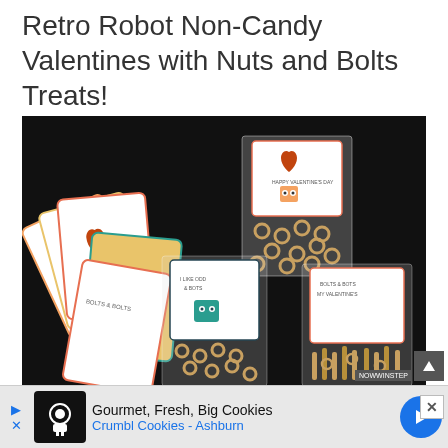Retro Robot Non-Candy Valentines with Nuts and Bolts Treats!
[Figure (photo): Dark background photo showing retro robot-themed Valentine's Day cards fanned out on the left, and several clear plastic bags filled with cereal rings and pretzel sticks, each topped with a colorful robot-themed card label.]
[Figure (screenshot): Advertisement bar at the bottom showing Crumbl Cookies - Ashburn ad with logo, text 'Gourmet, Fresh, Big Cookies' and 'Crumbl Cookies - Ashburn', navigation arrows, and a blue circular icon.]